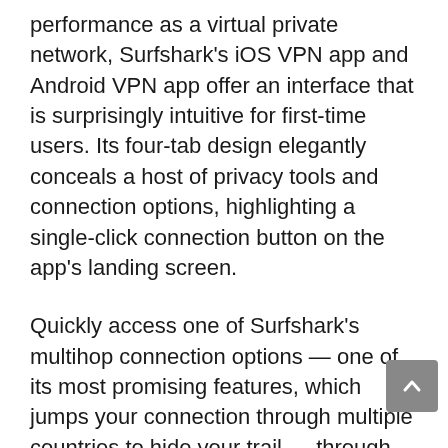performance as a virtual private network, Surfshark's iOS VPN app and Android VPN app offer an interface that is surprisingly intuitive for first-time users. Its four-tab design elegantly conceals a host of privacy tools and connection options, highlighting a single-click connection button on the app's landing screen.
Quickly access one of Surfshark's multihop connection options — one of its most promising features, which jumps your connection through multiple countries to hide your trail — through its main location-selection screen, with no need to rummage through the app's VPN settings. Surfshark also gets bonus points for making its customer support options readily available.